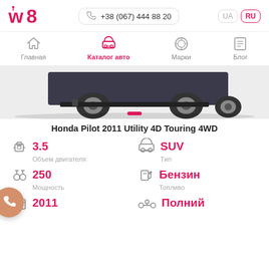w8 | +38 (067) 444 88 20 | UA | RU
Главная | Каталог авто | Марки | Блог
[Figure (photo): Bottom portion of Honda Pilot SUV car photo on light grey background with red carousel dot indicator]
Honda Pilot 2011 Utility 4D Touring 4WD
3.5 — Объем двигателя
SUV — Тип
250 — Мощность
Бензин — Топливо
2011
Полний